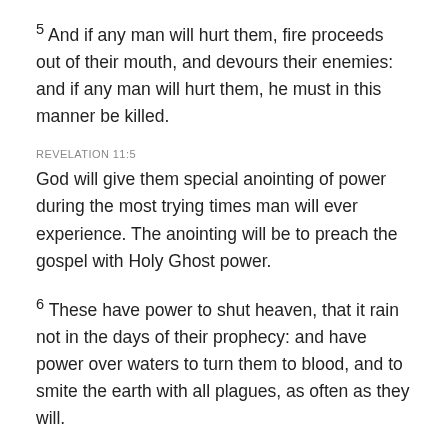5 And if any man will hurt them, fire proceeds out of their mouth, and devours their enemies: and if any man will hurt them, he must in this manner be killed.
REVELATION 11:5
God will give them special anointing of power during the most trying times man will ever experience. The anointing will be to preach the gospel with Holy Ghost power.
6 These have power to shut heaven, that it rain not in the days of their prophecy: and have power over waters to turn them to blood, and to smite the earth with all plagues, as often as they will.
REVELATION 11:6
Possible like in Egypt when Moses wrote it down with